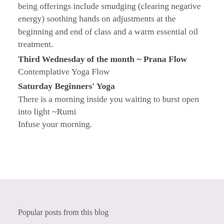being offerings include smudging (clearing negative energy) soothing hands on adjustments at the beginning and end of class and a warm essential oil treatment.
Third Wednesday of the month ~ Prana Flow
Contemplative Yoga Flow
Saturday Beginners' Yoga
There is a morning inside you waiting to burst open into light ~Rumi
Infuse your morning.
[Figure (illustration): Share icon (less-than symbol style share button)]
Popular posts from this blog